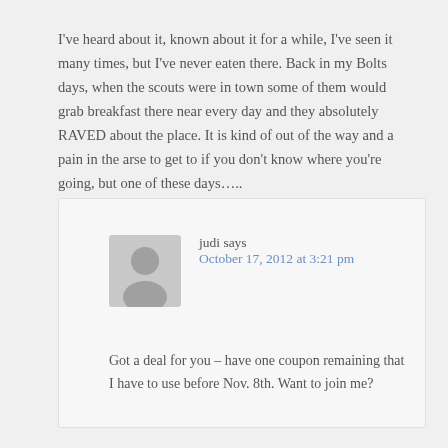I've heard about it, known about it for a while, I've seen it many times, but I've never eaten there. Back in my Bolts days, when the scouts were in town some of them would grab breakfast there near every day and they absolutely RAVED about the place. It is kind of out of the way and a pain in the arse to get to if you don't know where you're going, but one of these days…..
judi says
October 17, 2012 at 3:21 pm

Got a deal for you – have one coupon remaining that I have to use before Nov. 8th. Want to join me?